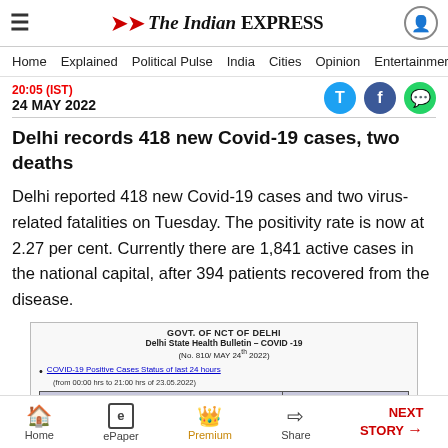The Indian EXPRESS — navigation bar with Home, Explained, Political Pulse, India, Cities, Opinion, Entertainment
24 MAY 2022
Delhi records 418 new Covid-19 cases, two deaths
Delhi reported 418 new Covid-19 cases and two virus-related fatalities on Tuesday. The positivity rate is now at 2.27 per cent. Currently there are 1,841 active cases in the national capital, after 394 patients recovered from the disease.
[Figure (screenshot): Government of NCT of Delhi - Delhi State Health Bulletin COVID-19 (No. 810/ MAY 24th 2022) showing COVID-19 Positive Cases Status of last 24 hours table]
Home | ePaper | Premium | Share | NEXT STORY